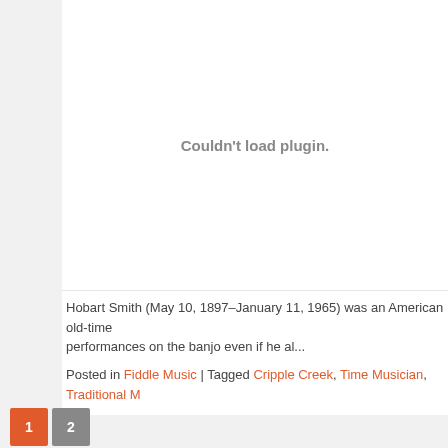[Figure (other): Couldn't load plugin. placeholder area — large white rectangle where a media plugin failed to load]
Hobart Smith (May 10, 1897–January 11, 1965) was an American old-time performances on the banjo even if he al...
Posted in Fiddle Music | Tagged Cripple Creek, Time Musician, Traditional M...
1
2